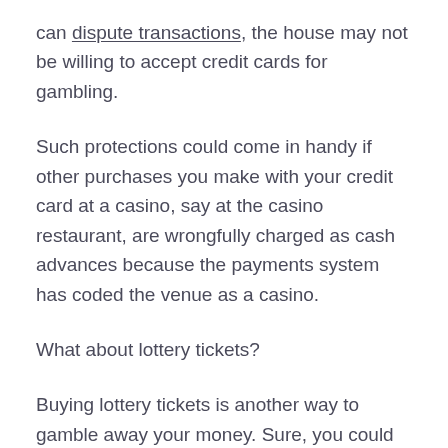can dispute transactions, the house may not be willing to accept credit cards for gambling.
Such protections could come in handy if other purchases you make with your credit card at a casino, say at the casino restaurant, are wrongfully charged as cash advances because the payments system has coded the venue as a casino.
What about lottery tickets?
Buying lottery tickets is another way to gamble away your money. Sure, you could win a big payoff, but the odds of that are minuscule. That's why many states see fit to regulate the purchase of